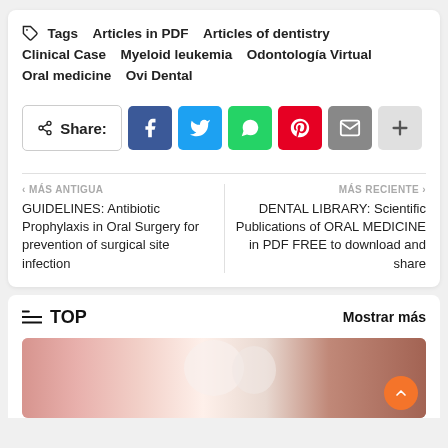Tags  Articles in PDF  Articles of dentistry  Clinical Case  Myeloid leukemia  Odontología Virtual  Oral medicine  Ovi Dental
[Figure (infographic): Share button row with Facebook, Twitter, WhatsApp, Pinterest, Email, and more (+) social media icon buttons]
< MÁS ANTIGUA — GUIDELINES: Antibiotic Prophylaxis in Oral Surgery for prevention of surgical site infection | MÁS RECIENTE > — DENTAL LIBRARY: Scientific Publications of ORAL MEDICINE in PDF FREE to download and share
TOP   Mostrar más
[Figure (photo): Close-up dental/oral cavity photograph showing teeth and gum tissue in pink and red tones]